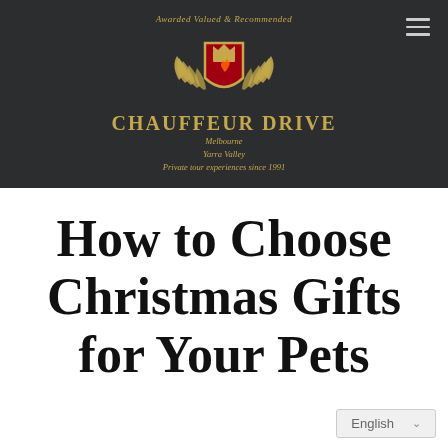[Figure (logo): Chauffeur Drive logo with golden shield, eagle wings, and crown on dark background. Text: 'Awarded Valued & Recommended', 'CHAUFFEUR DRIVE', 'Melbourne', 'Yarra Valley', 'Private tour experiences since 1991']
How to Choose Christmas Gifts for Your Pets